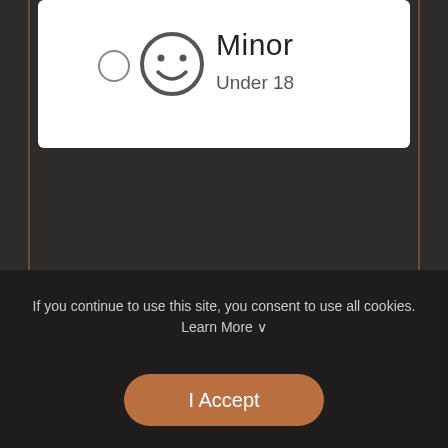[Figure (screenshot): Minor account option card with radio button, face icon, text 'Minor' and 'Under 18']
[Figure (other): Sign In button (grey/blue rounded rectangle)]
Have An Account?
Basic Info
First Name *
If you continue to use this site, you consent to use all cookies.
Learn More ∨
[Figure (other): I Accept button (brown/orange rounded rectangle)]